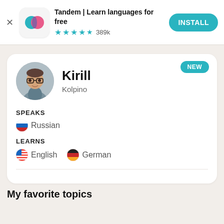[Figure (screenshot): App install banner for Tandem | Learn languages for free, showing teal logo with overlapping circles, star rating of 389k reviews, and INSTALL button]
Tandem | Learn languages for free
★★★★½ 389k
[Figure (photo): Circular profile photo of a young man wearing glasses standing outdoors]
Kirill
Kolpino
SPEAKS
🇷🇺 Russian
LEARNS
🇺🇸 English   🇩🇪 German
My favorite topics